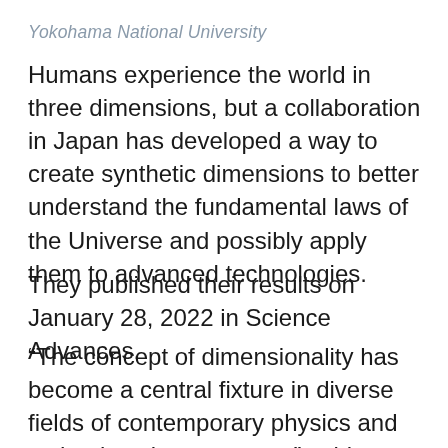Yokohama National University
Humans experience the world in three dimensions, but a collaboration in Japan has developed a way to create synthetic dimensions to better understand the fundamental laws of the Universe and possibly apply them to advanced technologies.
They published their results on January 28, 2022 in Science Advances.
“The concept of dimensionality has become a central fixture in diverse fields of contemporary physics and technology in past years,” said paper author Toshihiko Baba, professor in the Department of